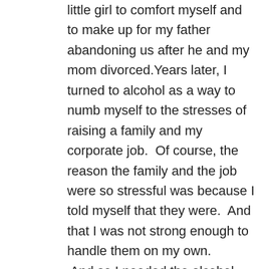little girl to comfort myself and to make up for my father abandoning us after he and my mom divorced.Years later, I turned to alcohol as a way to numb myself to the stresses of raising a family and my corporate job.  Of course, the reason the family and the job were so stressful was because I told myself that they were.  And that I was not strong enough to handle them on my own.  And so I needed the alcohol just to survive.But that was only true as long as I believed it to be.  Once I began to question all those assumptions, everything began to shift.First, I had to stop telling myself that "I can't handle